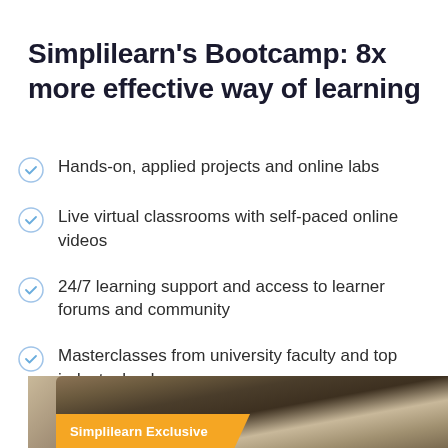Simplilearn's Bootcamp: 8x more effective way of learning
Hands-on, applied projects and online labs
Live virtual classrooms with self-paced online videos
24/7 learning support and access to learner forums and community
Masterclasses from university faculty and top industry leaders
[Figure (photo): Partial photo of a person with a 'Simplilearn Exclusive' banner overlay in orange/yellow at the bottom]